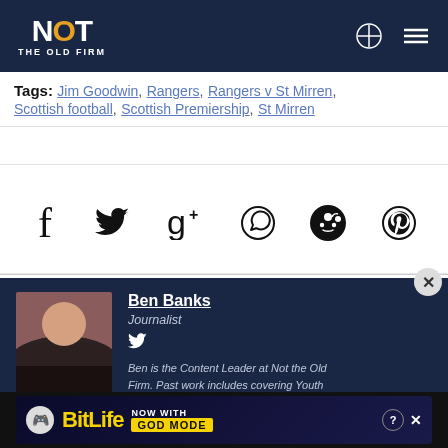NOT THE OLD FIRM
Tags: Jim Goodwin, Rangers, Rangers v St Mirren, Scottish football, Scottish Premiership, St Mirren
[Figure (infographic): Social share icons row: Facebook, Twitter, Google+, WhatsApp, Reddit, Pinterest]
[Figure (photo): Author photo of Ben Banks]
Ben Banks
Journalist
Ben is the Content Leader at Not the Old Firm. Past work includes covering Youth Football Scotland and working with the Bi...
[Figure (infographic): BitLife advertisement banner: NOW WITH GOD MODE]